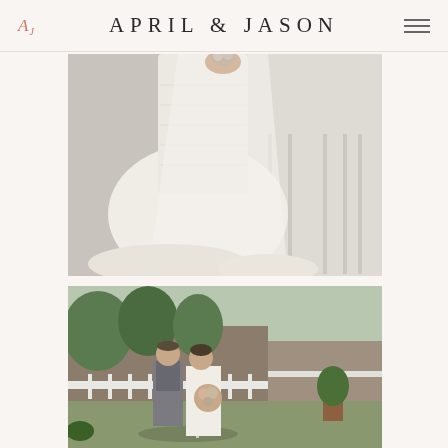APRIL & JASON
[Figure (photo): Close-up photo of a bride in a white lace wedding gown holding a small bouquet, with a white chiffon overlay/cape draped over the dress. White chiavari chairs are visible in the background.]
[Figure (photo): Outdoor photo of a groom in a gray suit and a bride in a white dress with a long veil walking together in front of a white picket fence, with trees and a building in the background. The bride holds a colorful bouquet.]